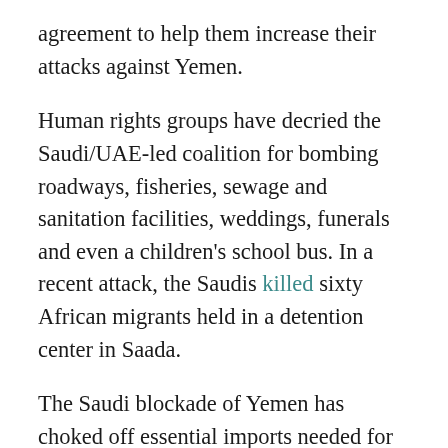agreement to help them increase their attacks against Yemen.
Human rights groups have decried the Saudi/UAE-led coalition for bombing roadways, fisheries, sewage and sanitation facilities, weddings, funerals and even a children's school bus. In a recent attack, the Saudis killed sixty African migrants held in a detention center in Saada.
The Saudi blockade of Yemen has choked off essential imports needed for daily life, forcing the Yemeni people to depend on relief groups for survival.
There is another way. U.S. Reps. Pramila Jayapal of